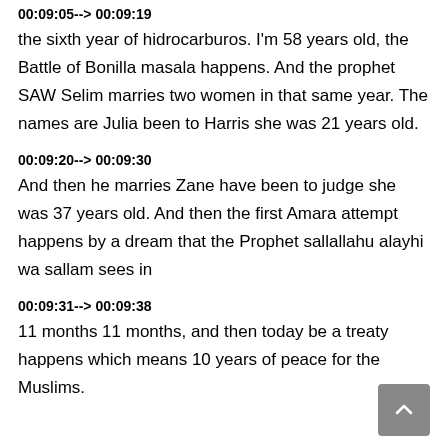00:09:05--> 00:09:19
the sixth year of hidrocarburos. I'm 58 years old, the Battle of Bonilla masala happens. And the prophet SAW Selim marries two women in that same year. The names are Julia been to Harris she was 21 years old.
00:09:20--> 00:09:30
And then he marries Zane have been to judge she was 37 years old. And then the first Amara attempt happens by a dream that the Prophet sallallahu alayhi wa sallam sees in
00:09:31--> 00:09:38
11 months 11 months, and then today be a treaty happens which means 10 years of peace for the Muslims.